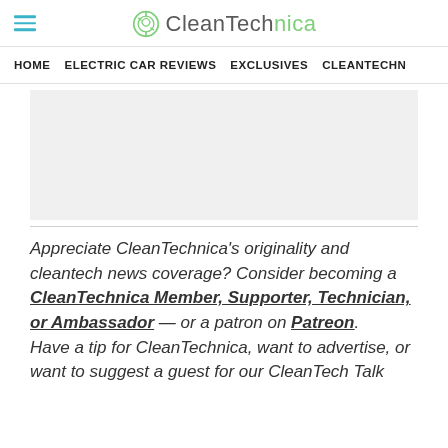CleanTechnica
HOME | ELECTRIC CAR REVIEWS | EXCLUSIVES | CLEANTECHN
[Figure (other): Gray advertisement placeholder box]
Appreciate CleanTechnica’s originality and cleantech news coverage? Consider becoming a CleanTechnica Member, Supporter, Technician, or Ambassador — or a patron on Patreon. Have a tip for CleanTechnica, want to advertise, or want to suggest a guest for our CleanTech Talk podcast? Contact us.